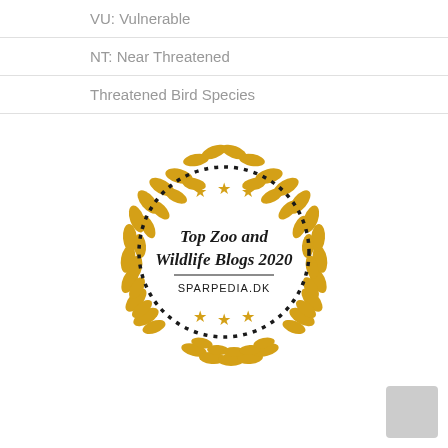VU: Vulnerable
NT: Near Threatened
Threatened Bird Species
[Figure (illustration): Award badge: golden laurel wreath with dotted circle border, three gold stars at top and bottom, italic serif text reading 'Top Zoo and Wildlife Blogs 2020', horizontal line, and 'SPARPEDIA.DK' below in sans-serif caps]